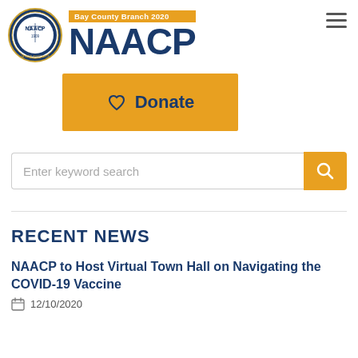[Figure (logo): NAACP Bay County Branch 2020 logo with circular seal and bold NAACP text]
[Figure (illustration): Hamburger menu icon (three horizontal lines) in top right corner]
[Figure (other): Orange Donate button with heart icon]
Enter keyword search
RECENT NEWS
NAACP to Host Virtual Town Hall on Navigating the COVID-19 Vaccine
12/10/2020